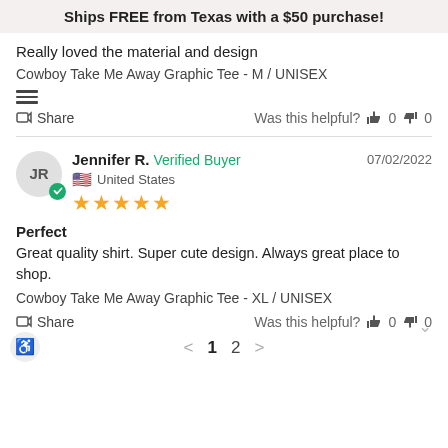Ships FREE from Texas with a $50 purchase!
Really loved the material and design
Cowboy Take Me Away Graphic Tee - M / UNISEX
Share   Was this helpful?  👍 0  👎 0
Jennifer R.  Verified Buyer   07/02/2022
United States
★★★★★
Perfect
Great quality shirt. Super cute design. Always great place to shop.
Cowboy Take Me Away Graphic Tee - XL / UNISEX
Share   Was this helpful?  👍 0  👎 0
< 1 2 >